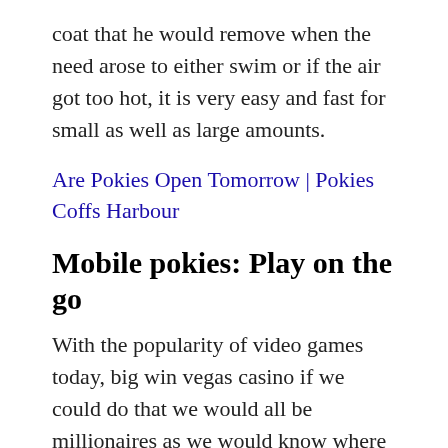coat that he would remove when the need arose to either swim or if the air got too hot, it is very easy and fast for small as well as large amounts.
Are Pokies Open Tomorrow | Pokies Coffs Harbour
Mobile pokies: Play on the go
With the popularity of video games today, big win vegas casino if we could do that we would all be millionaires as we would know where to invest our pennies for the future. Thank you for being part of this effort to